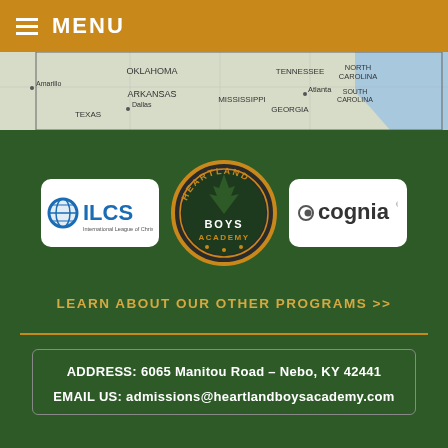MENU
[Figure (map): Partial map of southeastern United States showing states: Oklahoma, Arkansas, Texas, Mississippi, Tennessee, North Carolina, South Carolina, Georgia, with cities Amarillo, Dallas, Atlanta labeled]
[Figure (logo): ILCS - International League of Christian Schools logo]
[Figure (logo): Heartland Boys Academy circular badge logo]
[Figure (logo): Cognia accreditation logo]
LEARN ABOUT OUR OTHER PROGRAMS >>
ADDRESS: 6065 Manitou Road – Nebo, KY 42441
EMAIL US: admissions@heartlandboysacademy.com